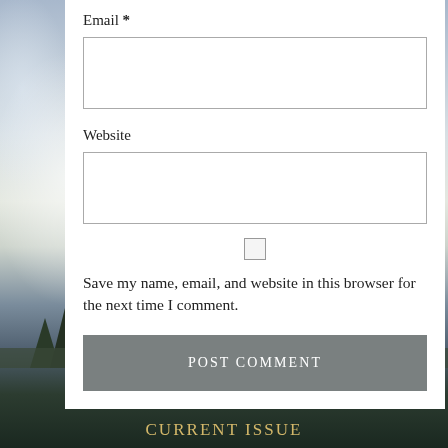Email *
[Figure (screenshot): Empty email text input field with border]
Website
[Figure (screenshot): Empty website text input field with border]
[Figure (screenshot): Unchecked checkbox]
Save my name, email, and website in this browser for the next time I comment.
Post Comment
Current Issue